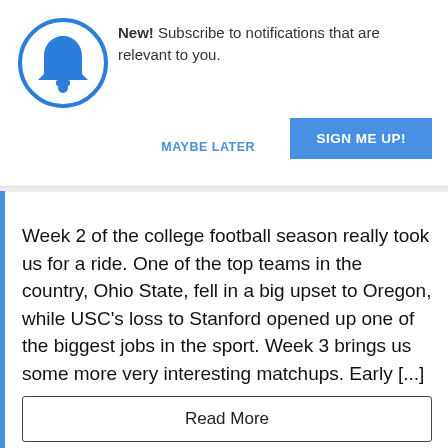[Figure (illustration): Blue bell icon inside a blue circle, representing a notification bell]
New! Subscribe to notifications that are relevant to you.
MAYBE LATER
SIGN ME UP!
Week 2 of the college football season really took us for a ride. One of the top teams in the country, Ohio State, fell in a big upset to Oregon, while USC's loss to Stanford opened up one of the biggest jobs in the sport. Week 3 brings us some more very interesting matchups. Early [...]
Read More